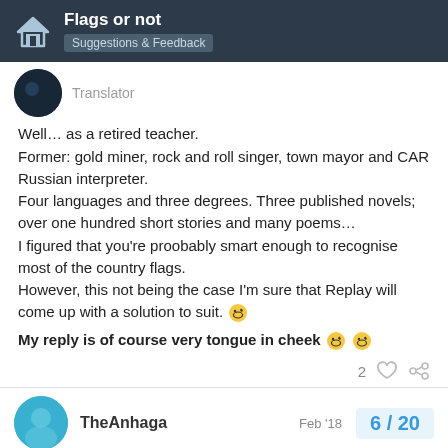Flags or not — Suggestions & Feedback
Translator
Well… as a retired teacher.
Former: gold miner, rock and roll singer, town mayor and CAR Russian interpreter.
Four languages and three degrees. Three published novels; over one hundred short stories and many poems…
I figured that you're proobably smart enough to recognise most of the country flags.
However, this not being the case I'm sure that Replay will come up with a solution to suit. 😉

My reply is of course very tongue in cheek 😉😉
2
TheAnhaga
Feb '18
6 / 20